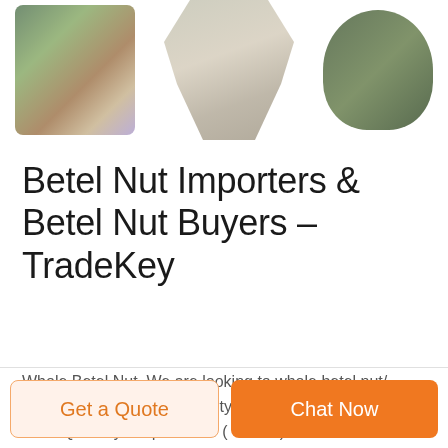[Figure (photo): Three product images: a rolled camouflage mat/bag on the left, a camouflage scarf/cloth in the center, and a dark green hat/bag on the right.]
Betel Nut Importers & Betel Nut Buyers – TradeKey
Whole Betel Nut. We are looking to whole betel nut/ areca nut with 90-95% quality. Last Updated: Mar 01, 2021 Quantity Required: 10 ( Tonne ) Annual Purchase Volume: 120 ( Tonne ) This buyer wants to receive quotations only from Premium Members .
Get a Quote
Chat Now